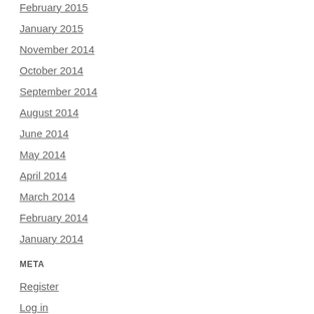February 2015
January 2015
November 2014
October 2014
September 2014
August 2014
June 2014
May 2014
April 2014
March 2014
February 2014
January 2014
META
Register
Log in
Entries feed